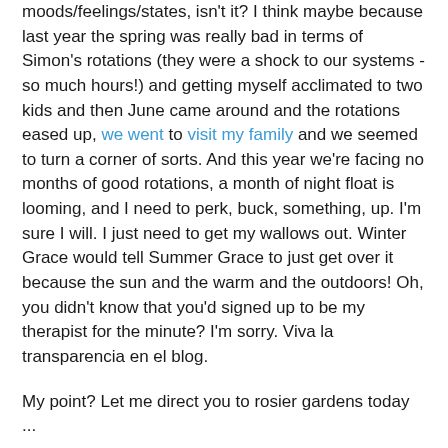moods/feelings/states, isn't it? I think maybe because last year the spring was really bad in terms of Simon's rotations (they were a shock to our systems - so much hours!) and getting myself acclimated to two kids and then June came around and the rotations eased up, we went to visit my family and we seemed to turn a corner of sorts. And this year we're facing no months of good rotations, a month of night float is looming, and I need to perk, buck, something, up. I'm sure I will. I just need to get my wallows out. Winter Grace would tell Summer Grace to just get over it because the sun and the warm and the outdoors! Oh, you didn't know that you'd signed up to be my therapist for the minute? I'm sorry. Viva la transparencia en el blog.
My point? Let me direct you to rosier gardens today ...
If you don't read Regina's blog and instantly love her ... check yourself, check your pulse, check something. She's phenom.
I'm going to leave ALL playlist making to Kelly from here on out. She nailed it good + she made me laugh.